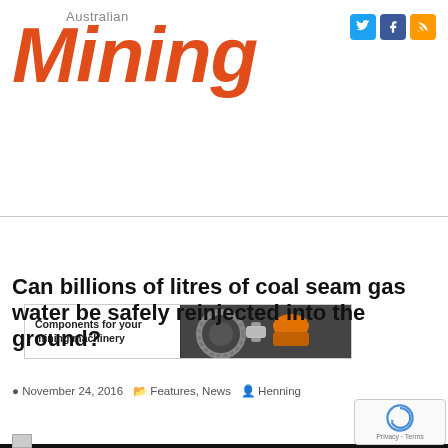Australian Mining
[Figure (logo): Australian Mining magazine logo in orange/red italic bold font with social media icons (Twitter, Facebook, RSS) in top right]
[Figure (other): Advertisement banner: 'Components for your mining machinery' with image of mining machinery components including gears and mechanical parts]
Can billions of litres of coal seam gas water be safely reinjected into the ground?
November 24, 2016   Features, News   Henning
[Figure (infographic): JOIN OUR NEWSLETTER button in orange, and reCAPTCHA widget with Privacy - Terms text]